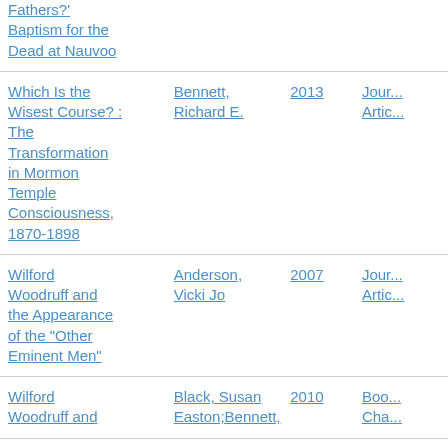| Title | Author | Year | Type |
| --- | --- | --- | --- |
| Fathers?' Baptism for the Dead at Nauvoo |  |  |  |
| Which Is the Wisest Course? : The Transformation in Mormon Temple Consciousness, 1870-1898 | Bennett, Richard E. | 2013 | Journal Article |
| Wilford Woodruff and the Appearance of the "Other Eminent Men" | Anderson, Vicki Jo | 2007 | Journal Article |
| Wilford Woodruff and | Black, Susan Easton;Bennett, | 2010 | Book Chapter |